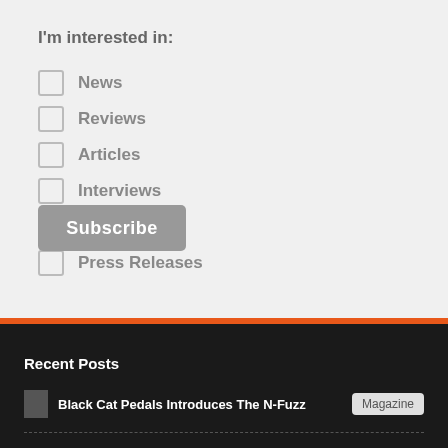I'm interested in:
News
Reviews
Articles
Interviews
Competitions
Press Releases
Subscribe
Recent Posts
Black Cat Pedals Introduces The N-Fuzz
Magazine